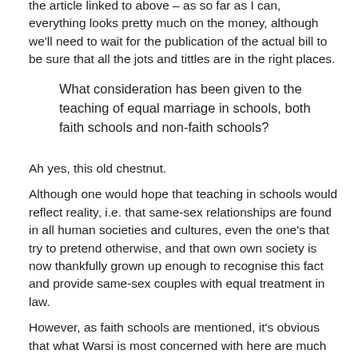the article linked to above – as so far as I can, everything looks pretty much on the money, although we'll need to wait for the publication of the actual bill to be sure that all the jots and tittles are in the right places.
What consideration has been given to the teaching of equal marriage in schools, both faith schools and non-faith schools?
Ah yes, this old chestnut.
Although one would hope that teaching in schools would reflect reality, i.e. that same-sex relationships are found in all human societies and cultures, even the one's that try to pretend otherwise, and that own own society is now thankfully grown up enough to recognise this fact and provide same-sex couples with equal treatment in law.
However, as faith schools are mentioned, it's obvious that what Warsi is most concerned with here are much the same issues that featured in the election leaflets she put